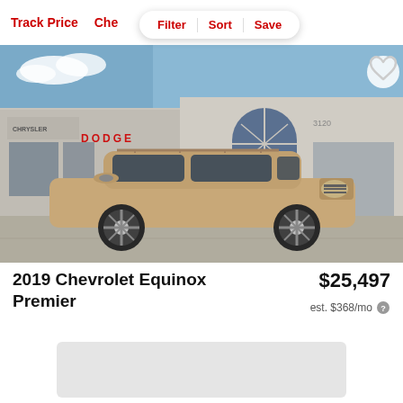Track Price  Che
Filter  Sort  Save
[Figure (photo): 2019 Chevrolet Equinox Premier SUV in gold/champagne color parked in front of a Dodge dealership building. A heart/favorite icon appears in the top right of the photo.]
2019 Chevrolet Equinox Premier
$25,497
est. $368/mo